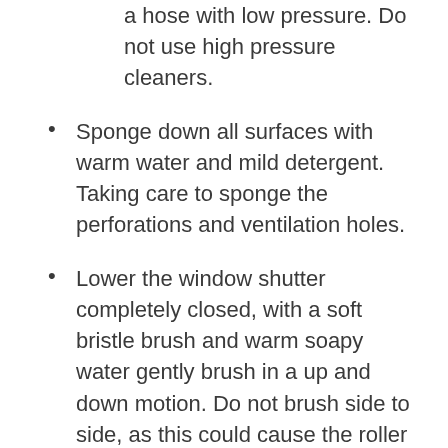a hose with low pressure. Do not use high pressure cleaners.
Sponge down all surfaces with warm water and mild detergent. Taking care to sponge the perforations and ventilation holes.
Lower the window shutter completely closed, with a soft bristle brush and warm soapy water gently brush in a up and down motion. Do not brush side to side, as this could cause the roller shutters slats to become misaligned.
Hose down again and rinse off any dirty soapy water.
Air dry or use a soft cloth. Again